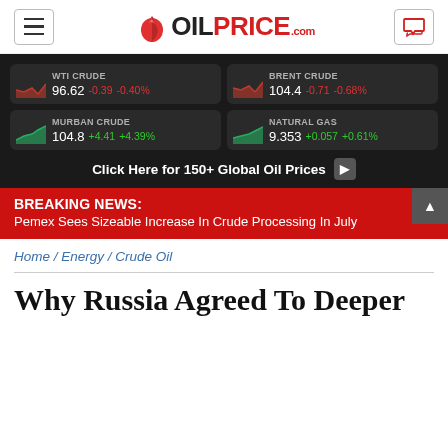OILPRICEcom
[Figure (infographic): Oil price ticker panel showing WTI Crude 96.62 -0.39 -0.40%, Brent Crude 104.4 -0.71 -0.68%, Murban Crude 104.8 +4.41 +4.39%, Natural Gas 9.353 +0.057 +0.61%, with mini sparkline charts and 'Click Here for 150+ Global Oil Prices' CTA]
BREAKING NEWS: Pemex Sees Sizeable Increase In Crude Processing In July
Home / Energy / Crude Oil
Why Russia Agreed To Deeper